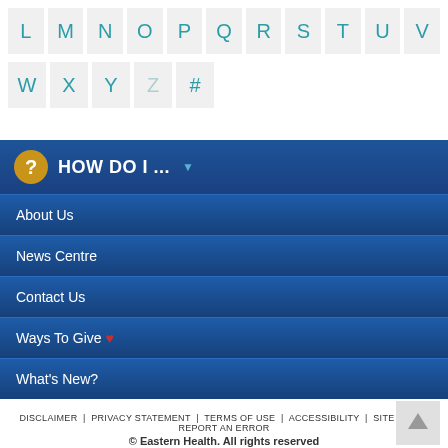L M N O P Q R S T U V
W X Y Z #
HOW DO I ...
About Us
News Centre
Contact Us
Ways To Give ♥
What's New?
DISCLAIMER | PRIVACY STATEMENT | TERMS OF USE | ACCESSIBILITY | SITE MAP | REPORT AN ERROR
© Eastern Health. All rights reserved